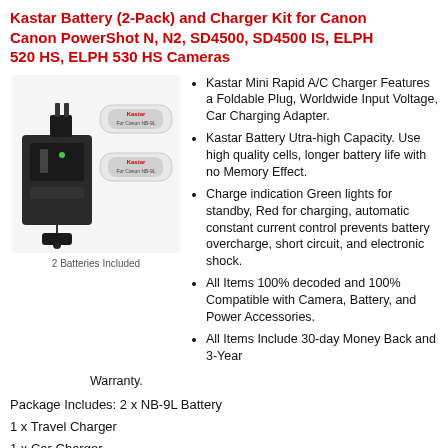Kastar Battery (2-Pack) and Charger Kit for Canon Canon PowerShot N, N2, SD4500, SD4500 IS, ELPH 520 HS, ELPH 530 HS Cameras
[Figure (photo): Product photo showing Kastar battery charger with two NB-9L batteries and a car charger adapter. Caption reads '2 Batteries Included'.]
Kastar Mini Rapid A/C Charger Features a Foldable Plug, Worldwide Input Voltage, Car Charging Adapter.
Kastar Battery Utra-high Capacity. Use high quality cells, longer battery life with no Memory Effect.
Charge indication Green lights for standby, Red for charging, automatic constant current control prevents battery overcharge, short circuit, and electronic shock.
All Items 100% decoded and 100% Compatible with Camera, Battery, and Power Accessories.
All Items Include 30-day Money Back and 3-Year Warranty.
Package Includes: 2 x NB-9L Battery
1 x Travel Charger
1 x Car Charger
1 x European Plug
Battery Compatible: Canon: NB-9L
Charger Compatible: Canon: NB-9L
Compatible with the following models: Canon PowerShot N
Canon PowerShot N2